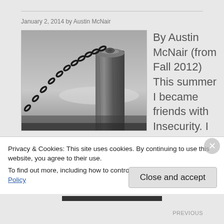January 2, 2014 by Austin McNair
[Figure (photo): Black and white photograph of a chain attached to a weathered wooden post, with a blurred background.]
By Austin McNair (from Fall 2012) This summer I became friends with Insecurity. I first met her at a bar…
Privacy & Cookies: This site uses cookies. By continuing to use this website, you agree to their use.
To find out more, including how to control cookies, see here: Cookie Policy